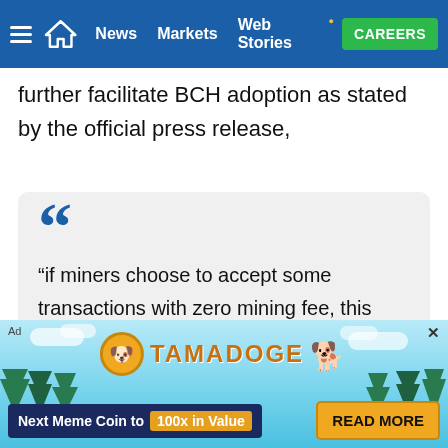News | Markets | Web Stories | CAREERS
further facilitate BCH adoption as stated by the official press release,
“if miners choose to accept some transactions with zero mining fee, this further encourages more Bitcoin Cash transaction usage.”
Mo... if the f... action...
[Figure (screenshot): Tamadoge advertisement banner with logo, dog mascot, text 'Next Meme Coin to 100x in Value' and 'READ MORE' button]